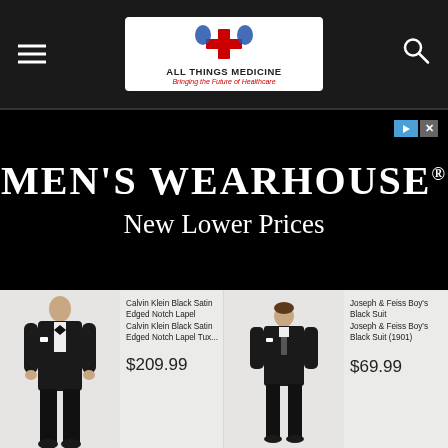All Things Medicine — Bringing the Future of Healthcare
[Figure (screenshot): Men's Wearhouse advertisement banner with text 'MEN'S WEARHOUSE® New Lower Prices' on black background]
[Figure (photo): Calvin Klein Black Satin Edged Notch Lapel tuxedo suit on a male model]
Calvin Klein Black Satin Edged Notch Lapel
Calvin Klein Black Satin Edged Notch Lapel Tux...
$209.99
[Figure (photo): Joseph & Feiss Boy's Black Suit (1901) on a young male model]
Joseph & Feiss Boy's Black Suit
Joseph & Feiss Boy's Black Suit (1901)
$69.99
[Figure (photo): Joseph & Feiss Boy's Navy Suit (1900) on a young male model]
Joseph & Feiss Boy's Navy Suit
Joseph & Feiss Boy's Navy Suit (1900)
$69.99
[Figure (photo): Joseph & Feiss Black Full Dress Tailcoat (17...) on a male model]
Joseph & Feiss Black Full Dress Tailcoat
Joseph & Feiss Black Full Dress Tailcoat (17...
$174.99